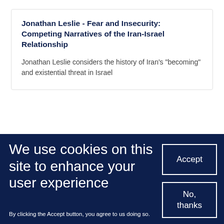Jonathan Leslie - Fear and Insecurity: Competing Narratives of the Iran-Israel Relationship
Jonathan Leslie considers the history of Iran's "becoming" and existential threat in Israel
We use cookies on this site to enhance your user experience
By clicking the Accept button, you agree to us doing so.